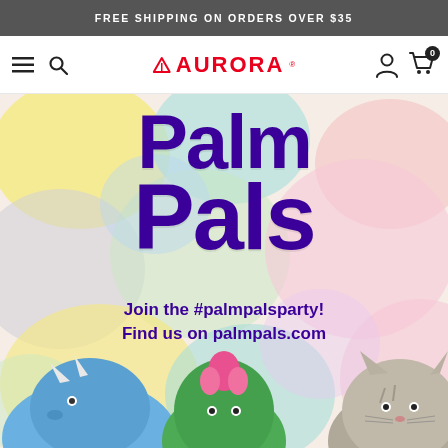FREE SHIPPING ON ORDERS OVER $35
[Figure (screenshot): Aurora brand navigation bar with hamburger menu, search icon, Aurora logo in red, user icon, and cart icon with 0 badge]
[Figure (illustration): Palm Pals product hero image with colorful watercolor blob background, large purple 'Palm Pals' title text, tagline 'Join the #palmpalsparty! Find us on palmpals.com', and three plush toy animals at the bottom: blue triceratops dinosaur, green cactus, and gray striped cat]
Palm Pals
Join the #palmpalsparty! Find us on palmpals.com